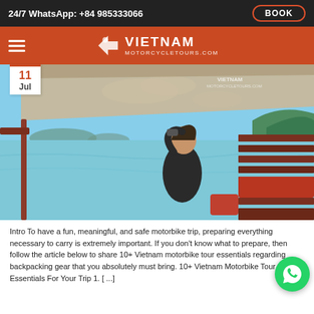24/7 WhatsApp: +84 985333066  BOOK
[Figure (logo): Vietnam Motorcycle Tours logo with arrow icon on orange/red nav bar with hamburger menu]
[Figure (photo): Person sitting on a wooden boat looking out over a calm lake with mountains in the background, Vietnam motorcycle tours watermark visible]
Intro To have a fun, meaningful, and safe motorbike trip, preparing everything necessary to carry is extremely important. If you don't know what to prepare, then follow the article below to share 10+ Vietnam motorbike tour essentials regarding backpacking gear that you absolutely must bring. 10+ Vietnam Motorbike Tour Essentials For Your Trip 1. [ ...]